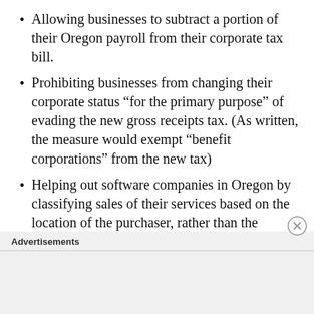Allowing businesses to subtract a portion of their Oregon payroll from their corporate tax bill.
Prohibiting businesses from changing their corporate status “for the primary purpose” of evading the new gross receipts tax. (As written, the measure would exempt “benefit corporations” from the new tax)
Helping out software companies in Oregon by classifying sales of their services based on the location of the purchaser, rather than the location of the company selling the service.
Advertisements